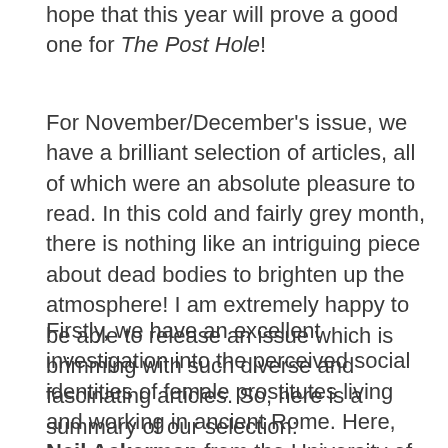hope that this year will prove a good one for The Post Hole!
For November/December's issue, we have a brilliant selection of articles, all of which were an absolute pleasure to read. In this cold and fairly grey month, there is nothing like an intriguing piece about dead bodies to brighten up the atmosphere! I am extremely happy to be able to release an issue which is brimming with such diverse and fascinating articles. So, here is a summary of our selection:
Firstly, we have an excellent investigation into the perceived social identities of female prostitutes living and working in ancient Rome. Here, Neil Ackerman from the University of Highlands and